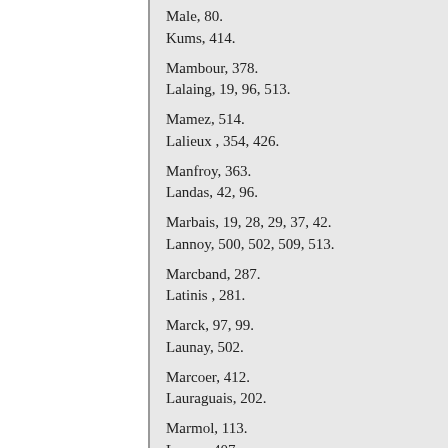Male, 80.
Kums, 414.
Mambour, 378.
Lalaing, 19, 96, 513.
Mamez, 514.
Lalieux , 354, 426.
Manfroy, 363.
Landas, 42, 96.
Marbais, 19, 28, 29, 37, 42.
Lannoy, 500, 502, 509, 513.
Marcband, 287.
Latinis , 281.
Marck, 97, 99.
Launay, 502.
Marcoer, 412.
Lauraguais, 202.
Marmol, 113.
Lavry , 407.
Marsille, 452.
Léaucourt, 41.